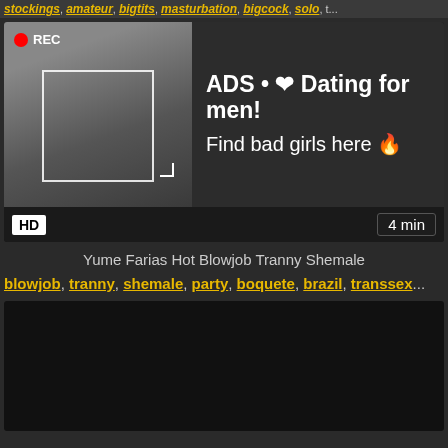stockings, amateur, bigtits, masturbation, bigcock, solo, t...
[Figure (screenshot): Video thumbnail with REC badge and dating advertisement overlay showing a woman taking a selfie, with text 'ADS • ❤ Dating for men! Find bad girls here 🔥']
HD  4 min
Yume Farias Hot Blowjob Tranny Shemale
blowjob, tranny, shemale, party, boquete, brazil, transsex...
[Figure (screenshot): Dark/black video thumbnail placeholder]